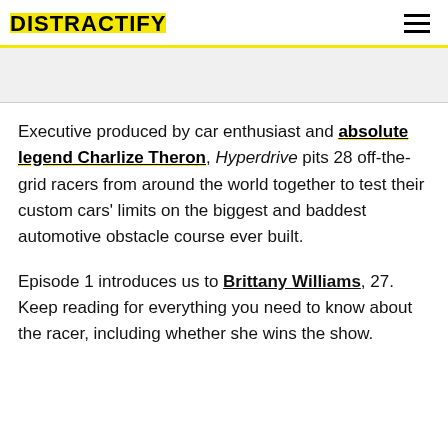DISTRACTIFY
Executive produced by car enthusiast and absolute legend Charlize Theron, Hyperdrive pits 28 off-the-grid racers from around the world together to test their custom cars' limits on the biggest and baddest automotive obstacle course ever built.
Episode 1 introduces us to Brittany Williams, 27. Keep reading for everything you need to know about the racer, including whether she wins the show.